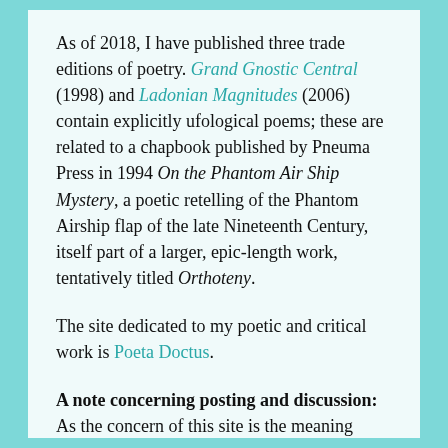As of 2018, I have published three trade editions of poetry. Grand Gnostic Central (1998) and Ladonian Magnitudes (2006) contain explicitly ufological poems; these are related to a chapbook published by Pneuma Press in 1994 On the Phantom Air Ship Mystery, a poetic retelling of the Phantom Airship flap of the late Nineteenth Century, itself part of a larger, epic-length work, tentatively titled Orthoteny.
The site dedicated to my poetic and critical work is Poeta Doctus.
A note concerning posting and discussion: As the concern of this site is the meaning rather than the being of UFOs and related matters,